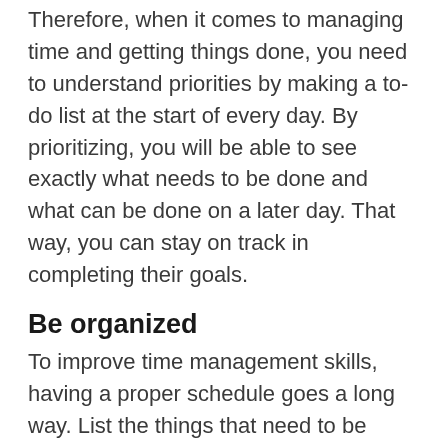Therefore, when it comes to managing time and getting things done, you need to understand priorities by making a to-do list at the start of every day. By prioritizing, you will be able to see exactly what needs to be done and what can be done on a later day. That way, you can stay on track in completing their goals.
Be organized
To improve time management skills, having a proper schedule goes a long way. List the things that need to be done in the day and priorities accordingly. Schedule time blocks for chores that require the most attention. It is a good idea to set schedule alerts on your smartphone to know when